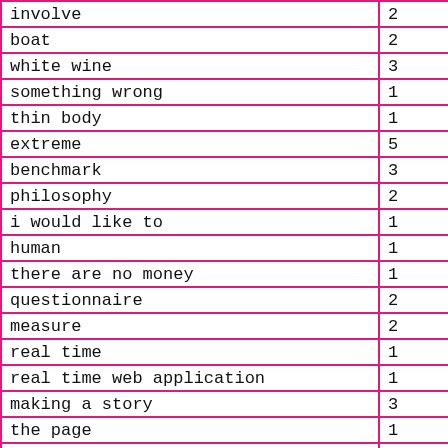| term | count |
| --- | --- |
| involve | 2 |
| boat | 2 |
| white wine | 3 |
| something wrong | 1 |
| thin body | 1 |
| extreme | 5 |
| benchmark | 3 |
| philosophy | 2 |
| i would like to | 1 |
| human | 1 |
| there are no money | 1 |
| questionnaire | 2 |
| measure | 2 |
| real time | 1 |
| real time web application | 1 |
| making a story | 3 |
| the page | 1 |
| feedback | 1 |
| my expectations | 1 |
| several syntactic patterns | 1 |